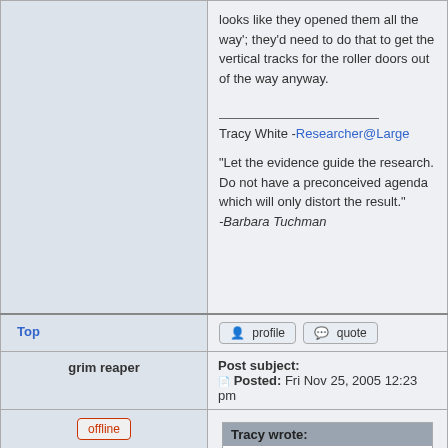looks like they opened them all the way'; they'd need to do that to get the vertical tracks for the roller doors out of the way anyway.
Tracy White -Researcher@Large
"Let the evidence guide the research. Do not have a preconceived agenda which will only distort the result." -Barbara Tuchman
Top
profile
quote
grim reaper
Post subject: Posted: Fri Nov 25, 2005 12:23 pm
offline
Tracy wrote: Are you talking about the framework on the side of the ship to support the elevator track?